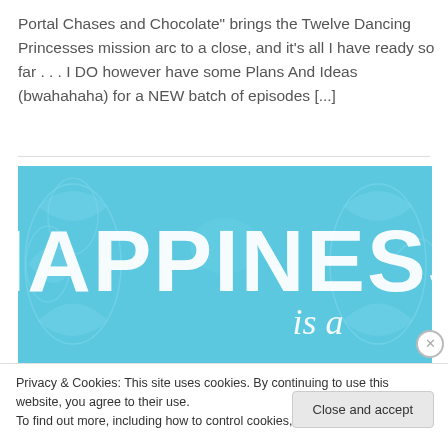Portal Chases and Chocolate" brings the Twelve Dancing Princesses mission arc to a close, and it's all I have ready so far . . . I DO however have some Plans And Ideas (bwahahaha) for a NEW batch of episodes [...]
[Figure (illustration): Blue decorative background with large white bold text reading 'HAPPINESS' and below it in italic script 'is a']
Privacy & Cookies: This site uses cookies. By continuing to use this website, you agree to their use.
To find out more, including how to control cookies, see here: Cookie Policy